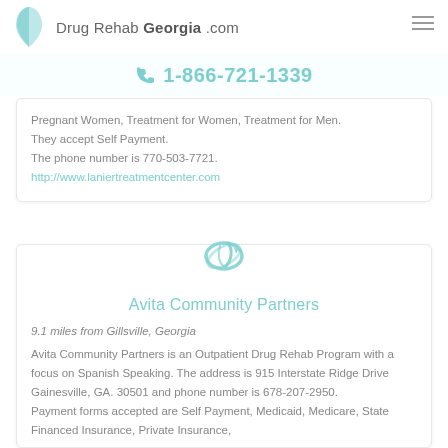Drug Rehab Georgia .com
1-866-721-1339
Pregnant Women, Treatment for Women, Treatment for Men. They accept Self Payment. The phone number is 770-503-7721. http://www.laniertreatmentcenter.com
[Figure (logo): Avita Community Partners logo - teal circular arrow with stylized person/letter alpha]
Avita Community Partners
9.1 miles from Gillsville, Georgia
Avita Community Partners is an Outpatient Drug Rehab Program with a focus on Spanish Speaking. The address is 915 Interstate Ridge Drive Gainesville, GA. 30501 and phone number is 678-207-2950. Payment forms accepted are Self Payment, Medicaid, Medicare, State Financed Insurance, Private Insurance,